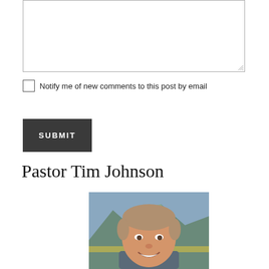[Figure (other): Text input textarea with resize handle in bottom-right corner]
Notify me of new comments to this post by email
SUBMIT
Pastor Tim Johnson
[Figure (photo): Photo of Pastor Tim Johnson, a middle-aged man with light brown hair, smiling, with mountains in the background]